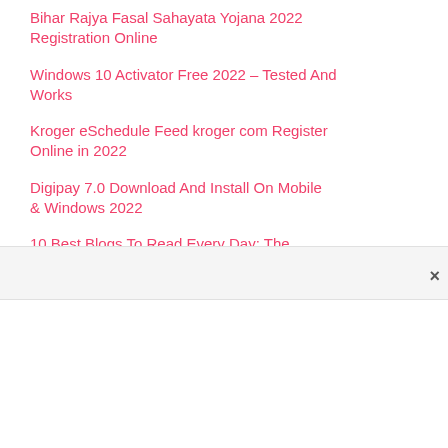Bihar Rajya Fasal Sahayata Yojana 2022 Registration Online
Windows 10 Activator Free 2022 – Tested And Works
Kroger eSchedule Feed kroger com Register Online in 2022
Digipay 7.0 Download And Install On Mobile & Windows 2022
10 Best Blogs To Read Every Day: The Ultimate List